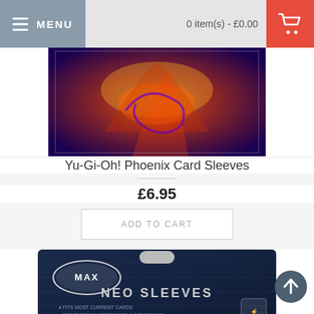MENU | 0 item(s) - £0.00
[Figure (photo): Yu-Gi-Oh! Phoenix Card Sleeves product image showing fiery phoenix design on card sleeve packaging]
Yu-Gi-Oh! Phoenix Card Sleeves
£6.95
ADD TO CART
[Figure (photo): MAX brand Neo Sleeves product packaging with dark blue background, oval MAX logo, text reading NEO SLEEVES with bullet points: Fits most current cards, Protects fingerprints & scratches, UV protection, No PVC. Shows MAX UV shield logo.]
[Figure (photo): Partially visible second card sleeve product with blue packaging showing Asian characters and white dragon illustration, with MAX UV shield logo]